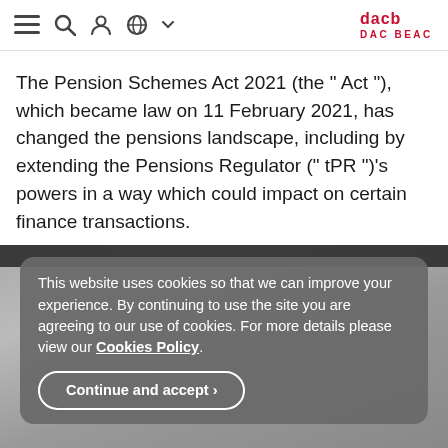DAC BEACHCROFT
The Pension Schemes Act 2021 (the “ Act ”), which became law on 11 February 2021, has changed the pensions landscape, including by extending the Pensions Regulator (“ tPR ”)'s powers in a way which could impact on certain finance transactions.
This website uses cookies so that we can improve your experience. By continuing to use the site you are agreeing to our use of cookies. For more details please view our Cookies Policy.
Continue and accept ›